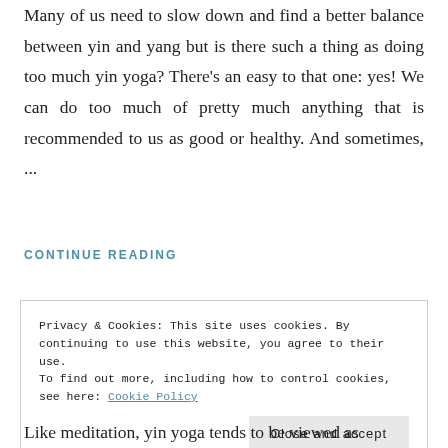Many of us need to slow down and find a better balance between yin and yang but is there such a thing as doing too much yin yoga? There's an easy to that one: yes! We can do too much of pretty much anything that is recommended to us as good or healthy. And sometimes, ...
CONTINUE READING
Privacy & Cookies: This site uses cookies. By continuing to use this website, you agree to their use.
To find out more, including how to control cookies, see here: Cookie Policy
Close and accept
Like meditation, yin yoga tends to be viewed as